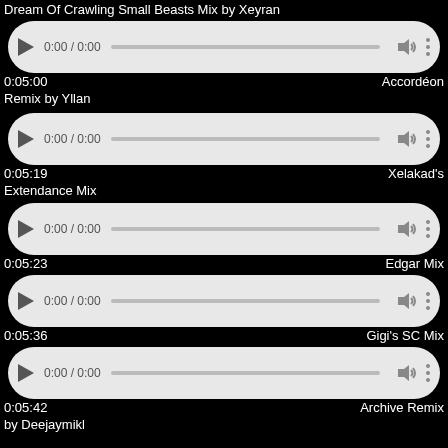Dream Of Crawling Small Beasts Mix by Xeyran
[Figure (screenshot): Audio player pill showing 0:00 / 0:00]
0:05:00
Remix by Yllan
Accordéon
[Figure (screenshot): Audio player pill showing 0:00 / 0:00]
0:05:19
Xelakad's Extendance Mix
[Figure (screenshot): Audio player pill showing 0:00 / 0:00]
0:05:23
Edgar Mix
[Figure (screenshot): Audio player pill showing 0:00 / 0:00]
0:05:36
Gigi's SC Mix
[Figure (screenshot): Audio player pill showing 0:00 / 0:00]
0:05:42
by Deejaymikl
Archive Remix
[Figure (screenshot): Audio player pill showing 0:00 / 0:00]
0:05:44
Version
Live Video
[Figure (screenshot): Audio player pill showing 0:00 / 0:00]